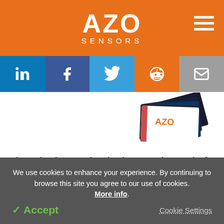AZO SENSORS
[Figure (logo): AZO Sensors logo with hamburger menu icon on orange background]
[Figure (infographic): Social media share buttons: LinkedIn, Facebook, Twitter, Reddit, Email]
[Figure (photo): AZO branded product cards/brochures fanned out]
First, the inspection is done at the end of the manufacturing process. As a result, contaminated objects may move through the entire manufacturing
We use cookies to enhance your experience. By continuing to browse this site you agree to our use of cookies. More info.
✓ Accept   Cookie Settings